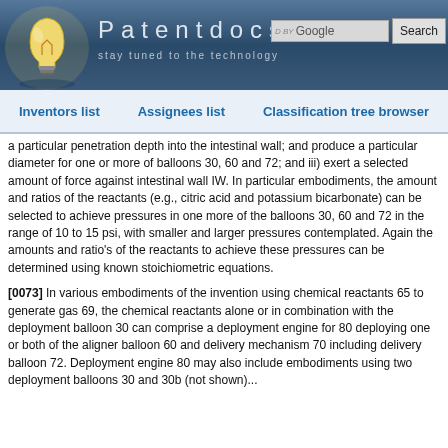Patentdocs — stay tuned to the technology
Inventors list | Assignees list | Classification tree browser
a particular penetration depth into the intestinal wall; and produce a particular diameter for one or more of balloons 30, 60 and 72; and iii) exert a selected amount of force against intestinal wall IW. In particular embodiments, the amount and ratios of the reactants (e.g., citric acid and potassium bicarbonate) can be selected to achieve pressures in one more of the balloons 30, 60 and 72 in the range of 10 to 15 psi, with smaller and larger pressures contemplated. Again the amounts and ratio's of the reactants to achieve these pressures can be determined using known stoichiometric equations.
[0073] In various embodiments of the invention using chemical reactants 65 to generate gas 69, the chemical reactants alone or in combination with the deployment balloon 30 can comprise a deployment engine for 80 deploying one or both of the aligner balloon 60 and delivery mechanism 70 including delivery balloon 72. Deployment engine 80 may also include embodiments using two deployment balloons 30 and 30b (not shown)...